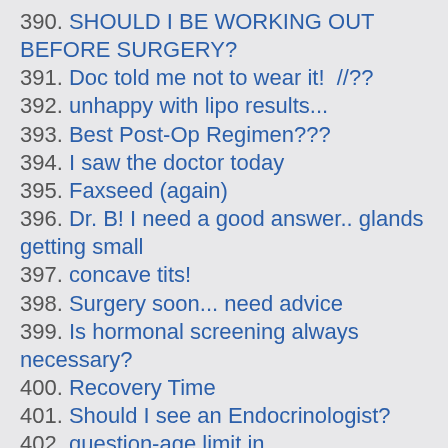390. SHOULD I BE WORKING OUT BEFORE SURGERY?
391. Doc told me not to wear it!  //??
392. unhappy with lipo results...
393. Best Post-Op Regimen???
394. I saw the doctor today
395. Faxseed (again)
396. Dr. B! I need a good answer.. glands getting small
397. concave tits!
398. Surgery soon... need advice
399. Is hormonal screening always necessary?
400. Recovery Time
401. Should I see an Endocrinologist?
402. question-age limit in